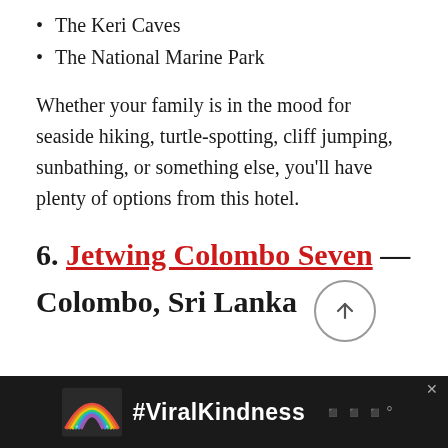The Keri Caves
The National Marine Park
Whether your family is in the mood for seaside hiking, turtle-spotting, cliff jumping, sunbathing, or something else, you'll have plenty of options from this hotel.
6. Jetwing Colombo Seven — Colombo, Sri Lanka
[Figure (other): Advertisement banner with dark background, rainbow illustration, and text #ViralKindness]